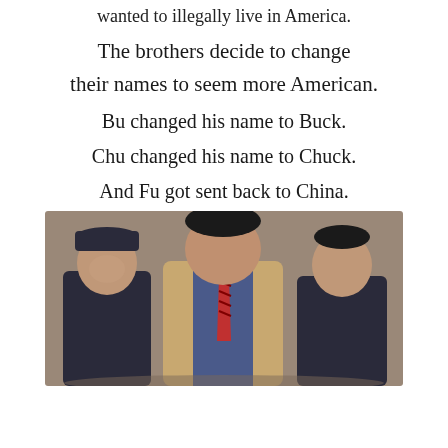wanted to illegally live in America.
The brothers decide to change their names to seem more American.
Bu changed his name to Buck.
Chu changed his name to Chuck.
And Fu got sent back to China.
[Figure (photo): Three Asian men standing together and smiling. The man on the left wears a dark jacket, the man in the middle is larger and wears a beige jacket with a red striped tie, and the man on the right wears a dark jacket.]